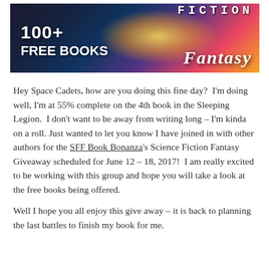[Figure (illustration): Banner image for SFF Book Bonanza promotion showing '100+ FREE BOOKS' text on the left with a sci-fi/fantasy explosion background, 'FICTION' text in monospace at the top right, and 'Fantasy' in gothic/fantasy font at the bottom right.]
Hey Space Cadets, how are you doing this fine day?  I'm doing well, I'm at 55% complete on the 4th book in the Sleeping Legion.  I don't want to be away from writing long – I'm kinda on a roll.  Just wanted to let you know I have joined in with other authors for the SFF Book Bonanza's Science Fiction Fantasy Giveaway scheduled for June 12 – 18, 2017!  I am really excited to be working with this group and hope you will take a look at the free books being offered.
Well I hope you all enjoy this give away – it is back to planning the last battles to finish my book for me.